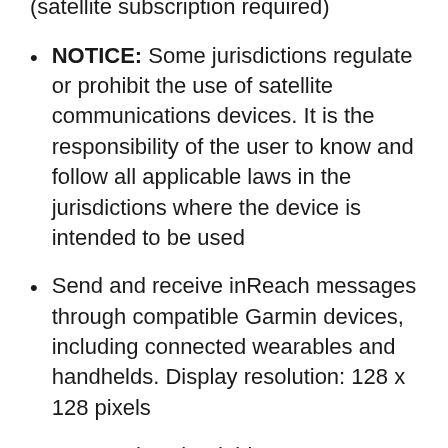percentage global Iridium network (satellite subscription required)
NOTICE: Some jurisdictions regulate or prohibit the use of satellite communications devices. It is the responsibility of the user to know and follow all applicable laws in the jurisdictions where the device is intended to be used
Send and receive inReach messages through compatible Garmin devices, including connected wearables and handhelds. Display resolution: 128 x 128 pixels
Access downloadable maps, U.S. NOAA charts, color aerial imagery and more through the free Garmin